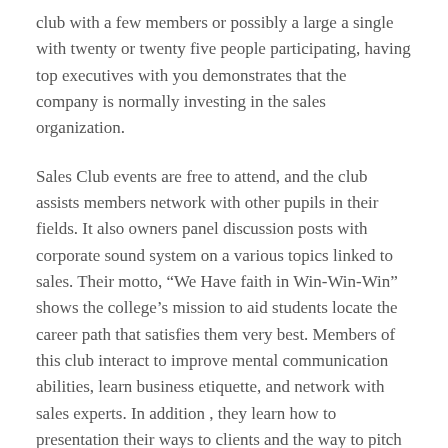club with a few members or possibly a large a single with twenty or twenty five people participating, having top executives with you demonstrates that the company is normally investing in the sales organization.
Sales Club events are free to attend, and the club assists members network with other pupils in their fields. It also owners panel discussion posts with corporate sound system on a various topics linked to sales. Their motto, “We Have faith in Win-Win-Win” shows the college’s mission to aid students locate the career path that satisfies them very best. Members of this club interact to improve mental communication abilities, learn business etiquette, and network with sales experts. In addition , they learn how to presentation their ways to clients and the way to pitch them in a professional fashion.
The President’s Club, generally known as the Achiever’s Club,